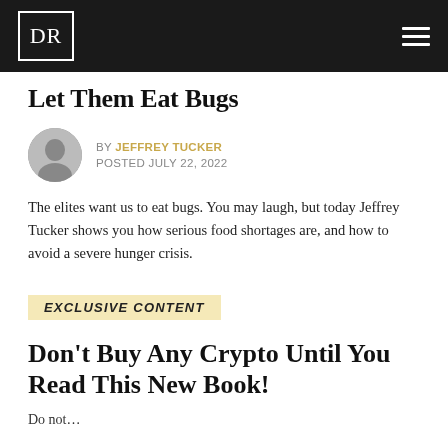DR
Let Them Eat Bugs
BY JEFFREY TUCKER
POSTED JULY 22, 2022
The elites want us to eat bugs. You may laugh, but today Jeffrey Tucker shows you how serious food shortages are, and how to avoid a severe hunger crisis.
EXCLUSIVE CONTENT
Don't Buy Any Crypto Until You Read This New Book!
Do not…